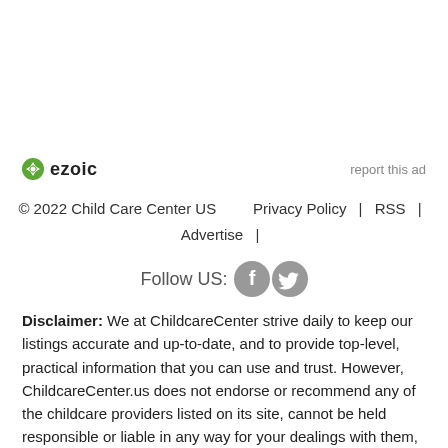[Figure (logo): Ezoic logo with green circular icon and bold 'ezoic' text, alongside 'report this ad' text]
© 2022 Child Care Center US   Privacy Policy  |  RSS  |  Advertise  |
Follow US:
[Figure (illustration): Facebook and Twitter social media icon circles in gray]
Disclaimer: We at ChildcareCenter strive daily to keep our listings accurate and up-to-date, and to provide top-level, practical information that you can use and trust. However, ChildcareCenter.us does not endorse or recommend any of the childcare providers listed on its site, cannot be held responsible or liable in any way for your dealings with them, and does not guarantee the accuracy of listings